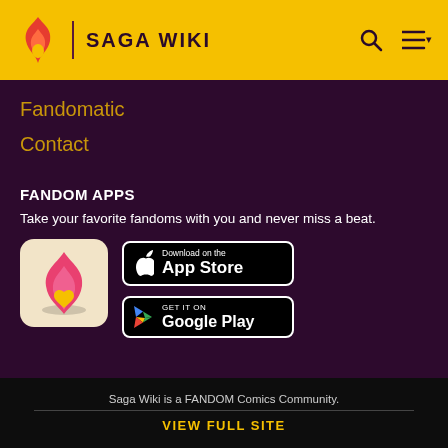SAGA WIKI
Fandomatic
Contact
FANDOM APPS
Take your favorite fandoms with you and never miss a beat.
[Figure (logo): Fandom app icon with pink/red flame and gold heart on cream background]
[Figure (screenshot): Download on the App Store button (black, Apple logo)]
[Figure (screenshot): GET IT ON Google Play button (black, Google Play logo)]
Saga Wiki is a FANDOM Comics Community.
VIEW FULL SITE